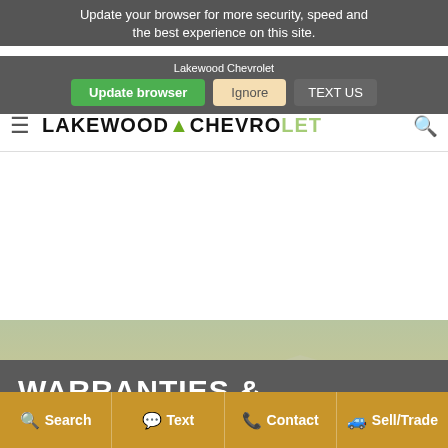Update your browser for more security, speed and the best experience on this site.
Lakewood Chevrolet
Update browser | Ignore | TEXT US
[Figure (photo): Three SUVs (GMC Terrain models in dark, white, and light colors) driving on a highway road with rolling hills and mountains in the background at dusk/golden hour]
WARRANTIES &
Search | Text | Contact | Sell/Trade